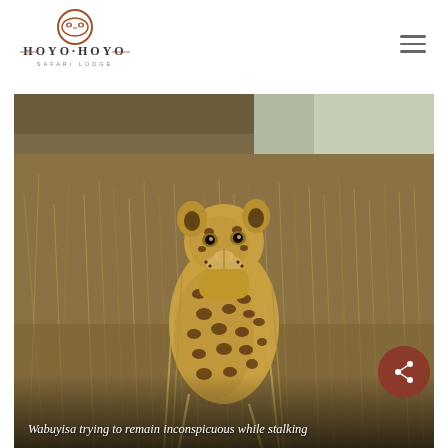Hoyo Hoyo Safari Lodge
[Figure (photo): Leopard sitting in dry golden grass, looking upward, photographed at Hoyo Hoyo Safari Lodge]
Wabuyisa trying to remain inconspicuous while stalking